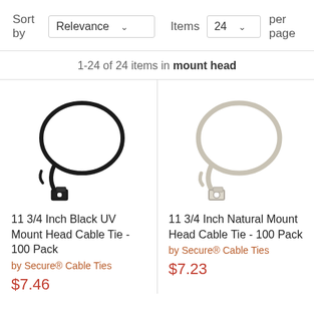Sort by  Relevance  Items  24  per page
1-24 of 24 items in mount head
[Figure (photo): Black UV mount head cable tie, looped, with mounting hole at base]
11 3/4 Inch Black UV Mount Head Cable Tie - 100 Pack
by Secure® Cable Ties
$7.46
[Figure (photo): Natural/white mount head cable tie, looped, with mounting hole at base]
11 3/4 Inch Natural Mount Head Cable Tie - 100 Pack
by Secure® Cable Ties
$7.23